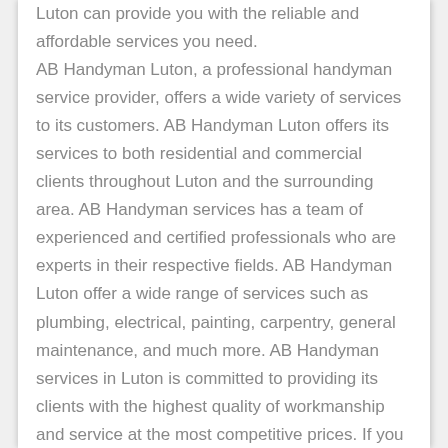Luton can provide you with the reliable and affordable services you need. AB Handyman Luton, a professional handyman service provider, offers a wide variety of services to its customers. AB Handyman Luton offers its services to both residential and commercial clients throughout Luton and the surrounding area. AB Handyman services has a team of experienced and certified professionals who are experts in their respective fields. AB Handyman Luton offer a wide range of services such as plumbing, electrical, painting, carpentry, general maintenance, and much more. AB Handyman services in Luton is committed to providing its clients with the highest quality of workmanship and service at the most competitive prices. If you are looking for a reliable and professional handyman near me, then AB Handyman Luton is the right choice for you. Get a free quote by calling us today.